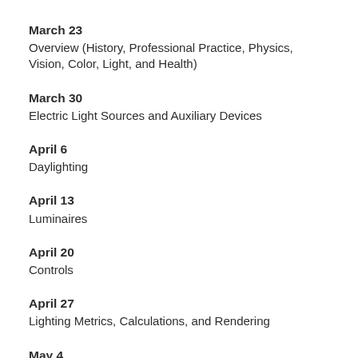March 23
Overview (History, Professional Practice, Physics, Vision, Color, Light, and Health)
March 30
Electric Light Sources and Auxiliary Devices
April 6
Daylighting
April 13
Luminaires
April 20
Controls
April 27
Lighting Metrics, Calculations, and Rendering
May 4